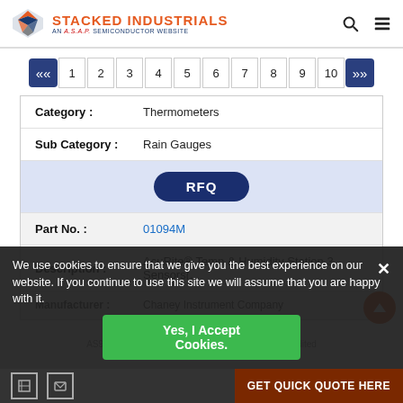[Figure (logo): Stacked Industrials logo - AN A.S.A.P. SEMICONDUCTOR WEBSITE]
[Figure (other): Pagination controls: << 1 2 3 4 5 6 7 8 9 10 >>]
| Category : | Thermometers |
| Sub Category : | Rain Gauges |
|  | RFQ |
| Part No. : | 01094M |
| Description : | AcuRite® Temp & Humidity Station 3 Sensors(... |
| Manufacturer : | Chaney Instrument Company |
We use cookies to ensure that we give you the best experience on our website. If you continue to use this site we will assume that you are happy with it.
Yes, I Accept Cookies.
AS9120B, ISO 9001:2015, and FAA AC 0056B Accredited
GET QUICK QUOTE HERE